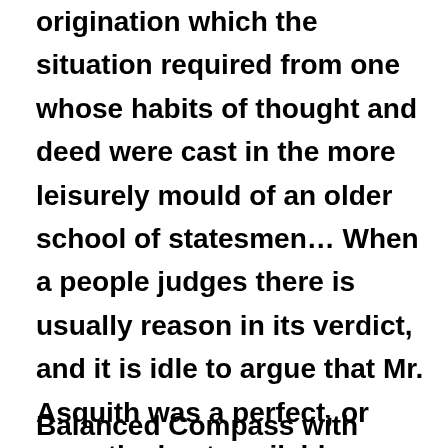origination which the situation required from one whose habits of thought and deed were cast in the more leisurely mould of an older school of statesmen… When a people judges there is usually reason in its verdict, and it is idle to argue that Mr. Asquith was a perfect, or even the best available, leader in war-time.
Balanched Compass with Balfour at the